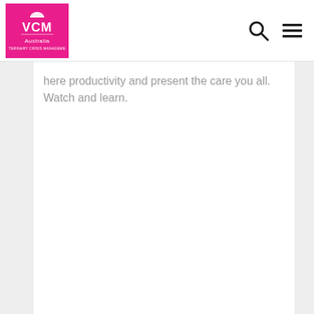[Figure (logo): VCM Australia logo - pink/magenta square with white text VCM Australia]
[Figure (other): Search icon (magnifying glass) and hamburger menu icon in navigation bar]
here productivity and present the care you all. Watch and learn.